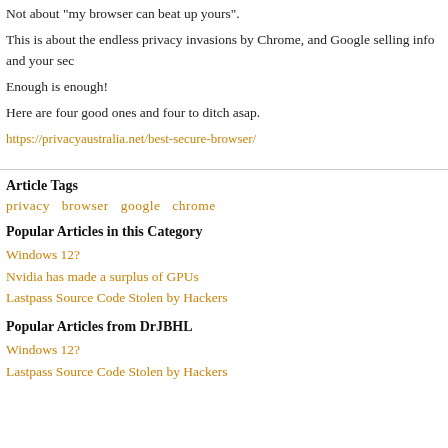Not about "my browser can beat up yours".
This is about the endless privacy invasions by Chrome, and Google selling info and your sec
Enough is enough!
Here are four good ones and four to ditch asap.
https://privacyaustralia.net/best-secure-browser/
Article Tags
privacy  browser  google  chrome
Popular Articles in this Category
Windows 12?
Nvidia has made a surplus of GPUs
Lastpass Source Code Stolen by Hackers
Popular Articles from DrJBHL
Windows 12?
Lastpass Source Code Stolen by Hackers